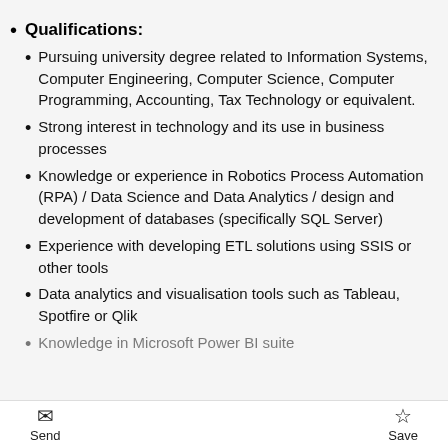Qualifications:
Pursuing university degree related to Information Systems, Computer Engineering, Computer Science, Computer Programming, Accounting, Tax Technology or equivalent.
Strong interest in technology and its use in business processes
Knowledge or experience in Robotics Process Automation (RPA) / Data Science and Data Analytics / design and development of databases (specifically SQL Server)
Experience with developing ETL solutions using SSIS or other tools
Data analytics and visualisation tools such as Tableau, Spotfire or Qlik
Knowledge in Microsoft Power BI suite
Send  Save